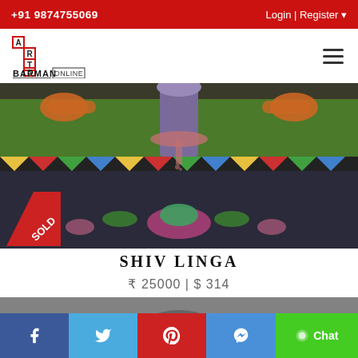+91 9874755069  Login | Register
[Figure (logo): Arts Barman Online logo with staircase design in red and black]
[Figure (photo): Shiv Linga traditional Indian painting showing mythological figures, linga with floral decorations on dark background with colorful border]
SHIV LINGA
₹ 25000 | $ 314
[Figure (photo): Black and white photograph, partially visible, showing a person's head]
f  Twitter  Pinterest  Messenger  Chat